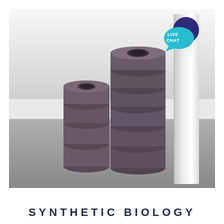[Figure (photo): Two stacks of ring-shaped ceramic or rubber objects (resembling stacked donuts or toroids) of different heights sitting on a metal surface next to a white rectangular panel/wall. The smaller stack is on the left and the taller stack is on the right. A teal/blue 'LIVE CHAT' speech bubble badge is visible in the upper right corner of the photo.]
SYNTHETIC BIOLOGY